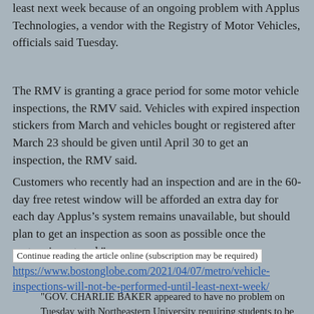least next week because of an ongoing problem with Applus Technologies, a vendor with the Registry of Motor Vehicles, officials said Tuesday.
The RMV is granting a grace period for some motor vehicle inspections, the RMV said. Vehicles with expired inspection stickers from March and vehicles bought or registered after March 23 should be given until April 30 to get an inspection, the RMV said.
Customers who recently had an inspection and are in the 60-day free retest window will be afforded an extra day for each day Applus’s system remains unavailable, but should plan to get an inspection as soon as possible once the system is restored."
Continue reading the article online (subscription may be required)
https://www.bostonglobe.com/2021/04/07/metro/vehicle-inspections-will-not-be-performed-until-least-next-week/
"GOV. CHARLIE BAKER appeared to have no problem on Tuesday with Northeastern University requiring students to be